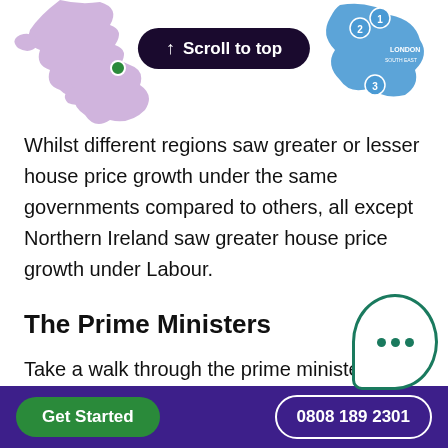[Figure (map): Partial view of a UK map with purple/lavender silhouette regions and a blue highlighted region (London/South East) on the right side with numbered markers 1, 2, 3. A green dot marker visible near the center-top.]
↑ Scroll to top
Whilst different regions saw greater or lesser house price growth under the same governments compared to others, all except Northern Ireland saw greater house price growth under Labour.
The Prime Ministers
Take a walk through the prime ministers of the past (and not so distant past) to find out whether Conservative or Labour leaders are more bene…
[Figure (illustration): A green speech/chat bubble icon with three dots (ellipsis) inside, indicating a chat or messaging feature.]
Get Started   0808 189 2301